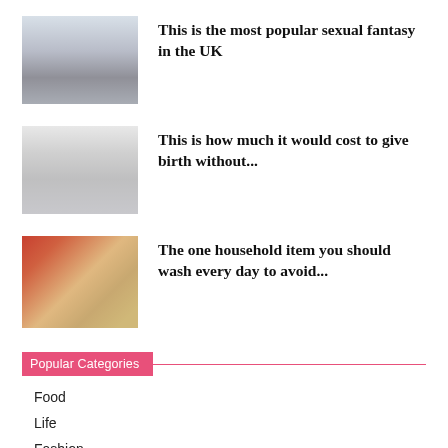[Figure (photo): Person lying on bed, viewed from above, with feet up]
This is the most popular sexual fantasy in the UK
[Figure (photo): Pregnant woman holding her belly]
This is how much it would cost to give birth without...
[Figure (photo): Woman in kitchen cutting food on a chopping board]
The one household item you should wash every day to avoid...
Popular Categories
Food
Life
Fashion
Beauty